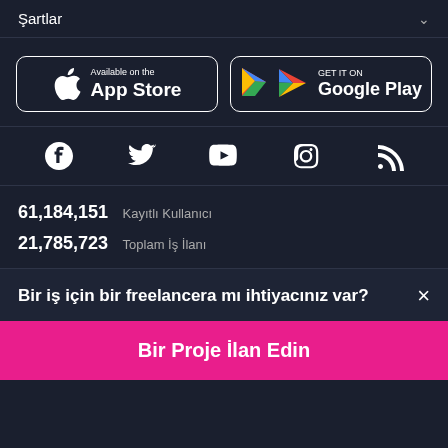Şartlar
[Figure (logo): Available on the App Store button]
[Figure (logo): GET IT ON Google Play button]
[Figure (other): Social media icons: Facebook, Twitter, YouTube, Instagram, RSS]
61,184,151 Kayıtlı Kullanıcı
21,785,723 Toplam İş İlanı
Bir iş için bir freelancera mı ihtiyacınız var?
Bir Proje İlan Edin